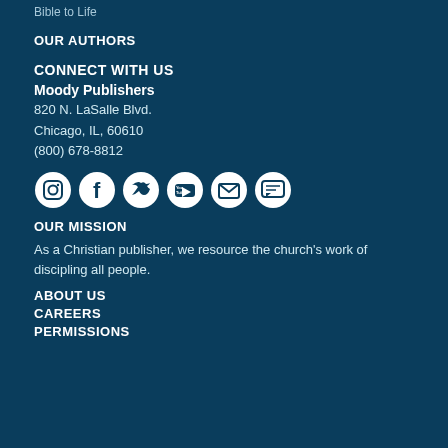Bible to Life
OUR AUTHORS
CONNECT WITH US
Moody Publishers
820 N. LaSalle Blvd.
Chicago, IL, 60610
(800) 678-8812
[Figure (infographic): Social media icons row: Instagram, Facebook, Twitter, YouTube, Email, Chat/Message]
OUR MISSION
As a Christian publisher, we resource the church's work of discipling all people.
ABOUT US
CAREERS
PERMISSIONS